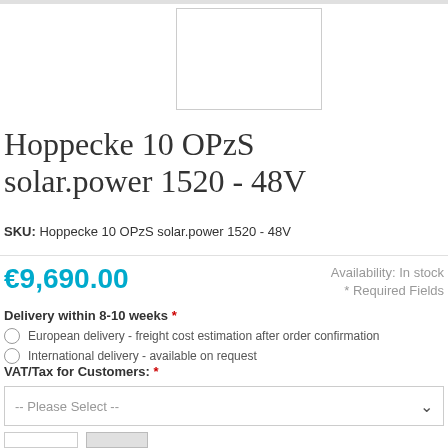[Figure (photo): Product image placeholder - white rectangle with border for Hoppecke 10 OPzS solar.power 1520 - 48V battery]
Hoppecke 10 OPzS solar.power 1520 - 48V
SKU: Hoppecke 10 OPzS solar.power 1520 - 48V
€9,690.00
Availability: In stock
* Required Fields
Delivery within 8-10 weeks *
European delivery - freight cost estimation after order confirmation
International delivery - available on request
VAT/Tax for Customers: *
-- Please Select --